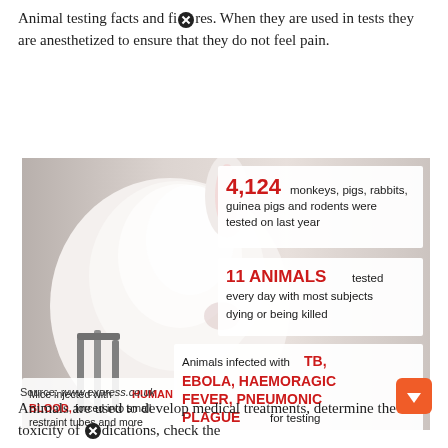Animal testing facts and figures. When they are used in tests they are anesthetized to ensure that they do not feel pain.
[Figure (infographic): Infographic showing animal testing facts overlaid on a photo of a white rabbit in a restraint. Four fact boxes: 4,124 monkeys, pigs, rabbits, guinea pigs and rodents were tested on last year; 11 ANIMALS tested every day with most subjects dying or being killed; Animals infected with TB, EBOLA, HAEMORAGIC FEVER, PNEUMONIC PLAGUE for testing; Mice injected with HUMAN BLOOD, forced into small restraint tubes and forced to inhale pneumonic plague bacteria.]
Source: www.express.co.uk
Animals are used to develop medical treatments, determine the toxicity of medications, check the